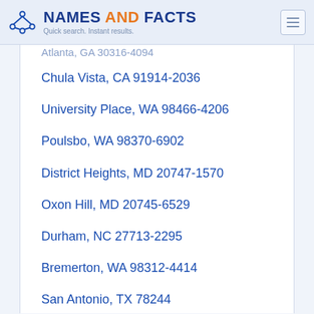NAMES AND FACTS — Quick search. Instant results.
Atlanta, GA 30316-4094
Chula Vista, CA 91914-2036
University Place, WA 98466-4206
Poulsbo, WA 98370-6902
District Heights, MD 20747-1570
Oxon Hill, MD 20745-6529
Durham, NC 27713-2295
Bremerton, WA 98312-4414
San Antonio, TX 78244
San Antonio, TX 78244
San Antonio, TX 78244-2145
San Diego, CA 92155-5002
Atlanta, GA 30316-3635